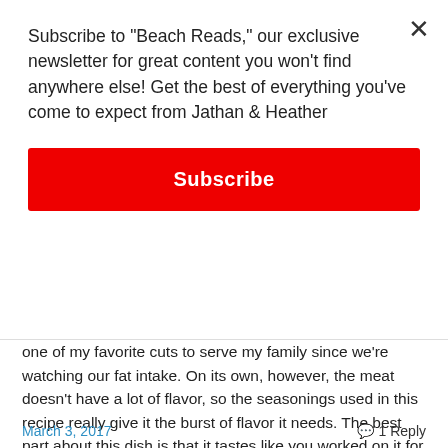Subscribe to "Beach Reads," our exclusive newsletter for great content you won't find anywhere else! Get the best of everything you've come to expect from Jathan & Heather
Subscribe
one of my favorite cuts to serve my family since we're watching our fat intake. On its own, however, the meat doesn't have a lot of flavor, so the seasonings used in this recipe really give it the burst of flavor it needs. The best part about this dish is that it tastes like you worked on it for hours, yet it's one of the simplest stove-to-table suppers around. Enjoy! Continue reading →
March 3, 2017
1 Reply